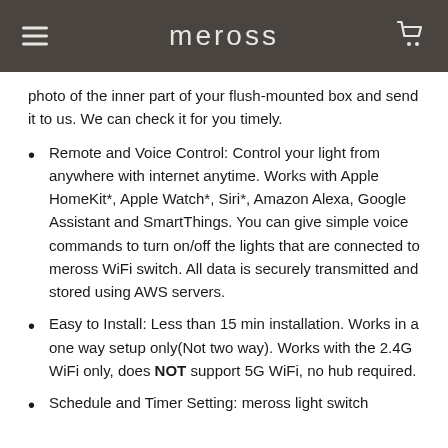meross
photo of the inner part of your flush-mounted box and send it to us. We can check it for you timely.
Remote and Voice Control: Control your light from anywhere with internet anytime. Works with Apple HomeKit*, Apple Watch*, Siri*, Amazon Alexa, Google Assistant and SmartThings. You can give simple voice commands to turn on/off the lights that are connected to meross WiFi switch. All data is securely transmitted and stored using AWS servers.
Easy to Install: Less than 15 min installation. Works in a one way setup only(Not two way). Works with the 2.4G WiFi only, does NOT support 5G WiFi, no hub required.
Schedule and Timer Setting: meross light switch